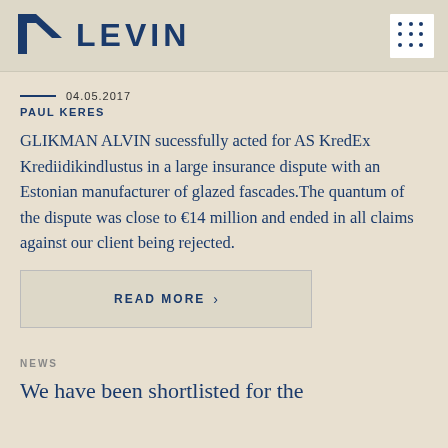LEVIN
04.05.2017
PAUL KERES
GLIKMAN ALVIN sucessfully acted for AS KredEx Krediidikindlustus in a large insurance dispute with an Estonian manufacturer of glazed fascades.The quantum of the dispute was close to €14 million and ended in all claims against our client being rejected.
READ MORE >
NEWS
We have been shortlisted for the